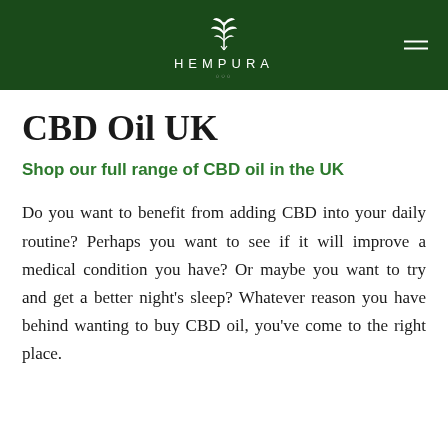HEMPURA
CBD Oil UK
Shop our full range of CBD oil in the UK
Do you want to benefit from adding CBD into your daily routine? Perhaps you want to see if it will improve a medical condition you have? Or maybe you want to try and get a better night's sleep? Whatever reason you have behind wanting to buy CBD oil, you've come to the right place.